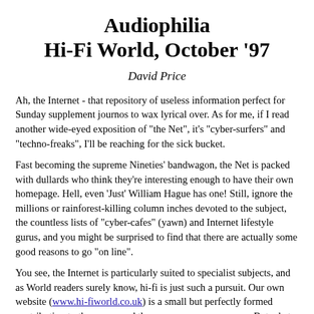Audiophilia Hi-Fi World, October '97
David Price
Ah, the Internet - that repository of useless information perfect for Sunday supplement journos to wax lyrical over. As for me, if I read another wide-eyed exposition of "the Net", it's "cyber-surfers" and "techno-freaks", I'll be reaching for the sick bucket.
Fast becoming the supreme Nineties' bandwagon, the Net is packed with dullards who think they're interesting enough to have their own homepage. Hell, even 'Just' William Hague has one! Still, ignore the millions or rainforest-killing column inches devoted to the subject, the countless lists of "cyber-cafes" (yawn) and Internet lifestyle gurus, and you might be surprised to find that there are actually some good reasons to go "on line".
You see, the Internet is particularly suited to specialist subjects, and as World readers surely know, hi-fi is just such a pursuit. Our own website (www.hi-fiworld.co.uk) is a small but perfectly formed contribution to the genre, and there are many, many more. But what has really surprised me is that the best hi-fi related site